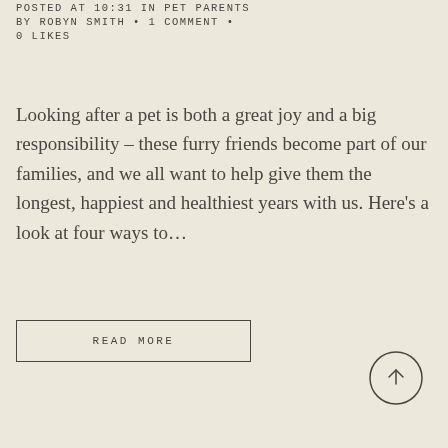POSTED AT 10:31 IN PET PARENTS BY ROBYN SMITH · 1 COMMENT · 0 LIKES
Looking after a pet is both a great joy and a big responsibility – these furry friends become part of our families, and we all want to help give them the longest, happiest and healthiest years with us. Here's a look at four ways to…
READ MORE
[Figure (other): Circle button with upward arrow for scroll to top]